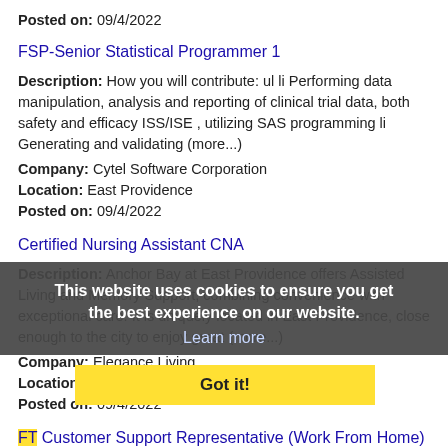Posted on: 09/4/2022
FSP-Senior Statistical Programmer 1
Description: How you will contribute: ul li Performing data manipulation, analysis and reporting of clinical trial data, both safety and efficacy ISS/ISE , utilizing SAS programming li Generating and validating (more...)
Company: Cytel Software Corporation
Location: East Providence
Posted on: 09/4/2022
Certified Nursing Assistant CNA
Description: Anchor Bay at East Providence offers Assisted Living and Memory Support, combining convenience with exceptional care. It is uniquely located in East Providence, close enough to the city to enjoy great (more...)
Company: Elegance Living
Location: East Providence
Posted on: 09/4/2022
This website uses cookies to ensure you get the best experience on our website. Learn more Got it!
FT Customer Support Representative (Work From Home)
Description: Customer Service / Remote - Anywhere in U.S. / Up to 60K per year / Sun-Th 11a-7pm PT - As
Company: BetterPool